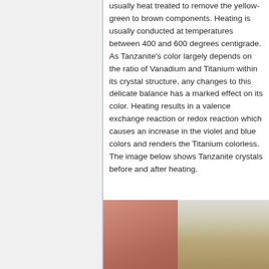usually heat treated to remove the yellow-green to brown components. Heating is usually conducted at temperatures between 400 and 600 degrees centigrade. As Tanzanite's color largely depends on the ratio of Vanadium and Titanium within its crystal structure, any changes to this delicate balance has a marked effect on its color. Heating results in a valence exchange reaction or redox reaction which causes an increase in the violet and blue colors and renders the Titanium colorless. The image below shows Tanzanite crystals before and after heating.
[Figure (photo): Photograph showing Tanzanite crystals before and after heating. Left portion shows brownish-pink raw crystals held in hand, right portion shows the crystal specimen against a grey/beige background after heating.]